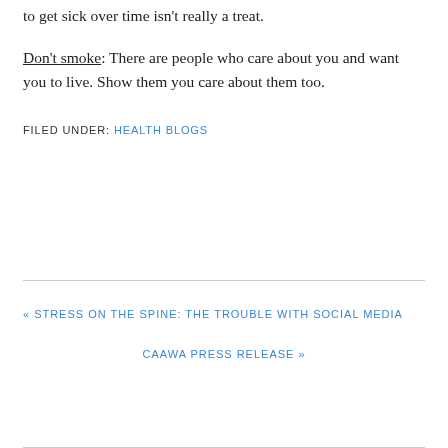to get sick over time isn't really a treat.
Don't smoke: There are people who care about you and want you to live. Show them you care about them too.
FILED UNDER: HEALTH BLOGS
« STRESS ON THE SPINE: THE TROUBLE WITH SOCIAL MEDIA
CAAWA PRESS RELEASE »